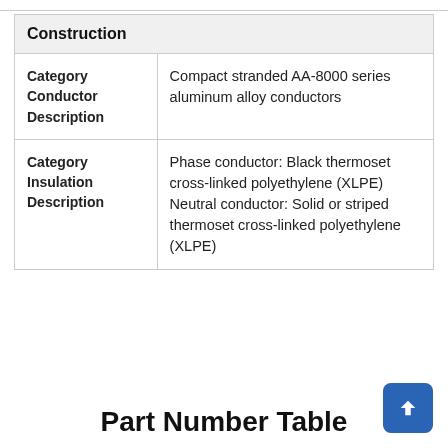|  |  |
| --- | --- |
| Construction |  |
| Category Conductor Description | Compact stranded AA-8000 series aluminum alloy conductors |
| Category Insulation Description | Phase conductor: Black thermoset cross-linked polyethylene (XLPE) Neutral conductor: Solid or striped thermoset cross-linked polyethylene (XLPE) |
Part Number Table